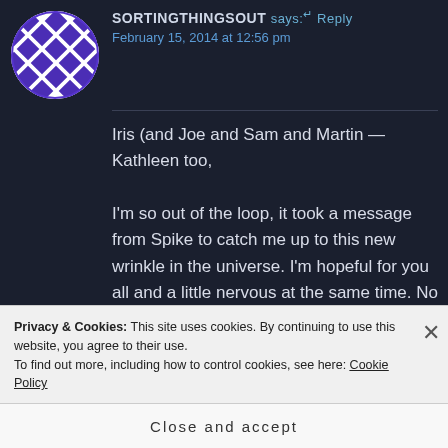[Figure (illustration): Circular avatar with purple/blue diamond checkered pattern on dark background]
SORTINGTHINGSOUT says: ↵ Reply
February 15, 2014 at 12:56 pm
Iris (and Joe and Sam and Martin — Kathleen too,

I'm so out of the loop, it took a message from Spike to catch me up to this new wrinkle in the universe. I'm hopeful for you all and a little nervous at the same time. No one is better equipped to deal with this unwanted situation – emotionally, spiritually, information ally. My concern is that you'll not get enough
Privacy & Cookies: This site uses cookies. By continuing to use this website, you agree to their use.
To find out more, including how to control cookies, see here: Cookie Policy
Close and accept